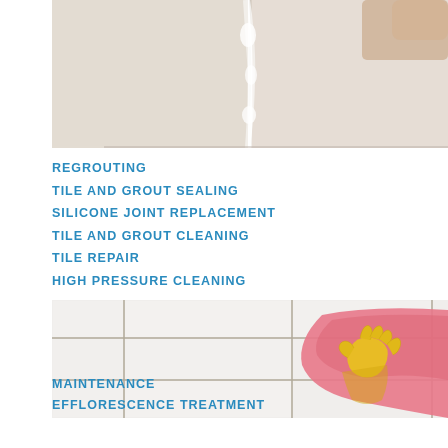[Figure (photo): Close-up photo of tile grout lines being worked on, with white grout/silicone applied, a person's hands visible in background on the right]
REGROUTING
TILE AND GROUT SEALING
SILICONE JOINT REPLACEMENT
TILE AND GROUT CLEANING
TILE REPAIR
HIGH PRESSURE CLEANING
[Figure (photo): White ceramic tiles with grey grout lines arranged in a grid pattern, with a yellow rubber glove holding a pink cleaning cloth on the right side]
MAINTENANCE
EFFLORESCENCE TREATMENT